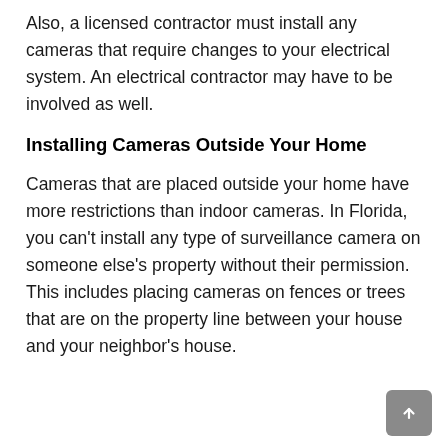Also, a licensed contractor must install any cameras that require changes to your electrical system. An electrical contractor may have to be involved as well.
Installing Cameras Outside Your Home
Cameras that are placed outside your home have more restrictions than indoor cameras. In Florida, you can't install any type of surveillance camera on someone else's property without their permission. This includes placing cameras on fences or trees that are on the property line between your house and your neighbor's house.